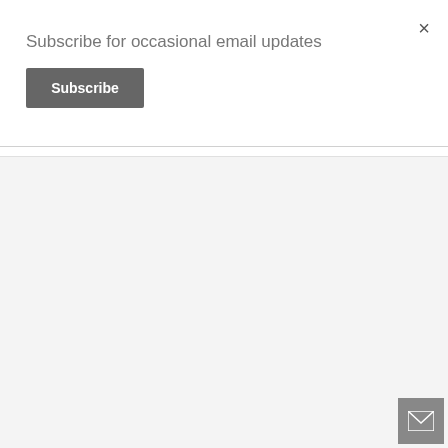×
Subscribe for occasional email updates
Subscribe
[Figure (other): Mail icon button in bottom-right corner]